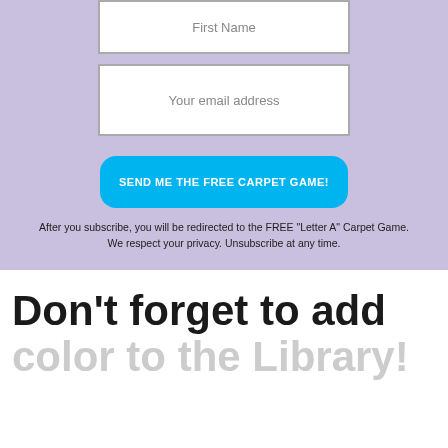[Figure (other): Form input box with placeholder text 'First Name']
[Figure (other): Form input box with placeholder text 'Your email address']
[Figure (other): Blue rounded button with text 'SEND ME THE FREE CARPET GAME!']
After you subscribe, you will be redirected to the FREE "Letter A" Carpet Game. We respect your privacy. Unsubscribe at any time.
Don't forget to add color to the Library!